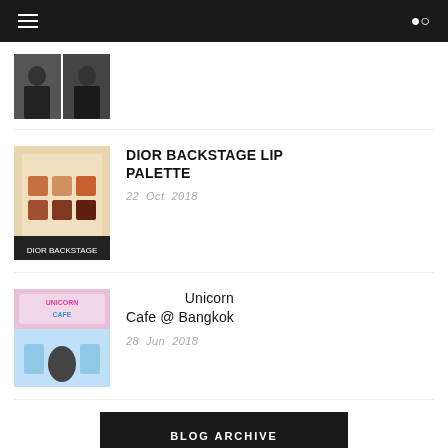[Figure (photo): Two people in black, partial thumbnail at top of page]
DIOR BACKSTAGE LIP PALETTE
22 Oct 2018
[Figure (photo): Dior Backstage lip palette with orange/brown shades]
Unicorn Cafe @ Bangkok
28 Jun 2018
[Figure (photo): Unicorn Cafe Bangkok with colorful unicorn decorations and a girl posing]
BLOG ARCHIVE
2019 (2)